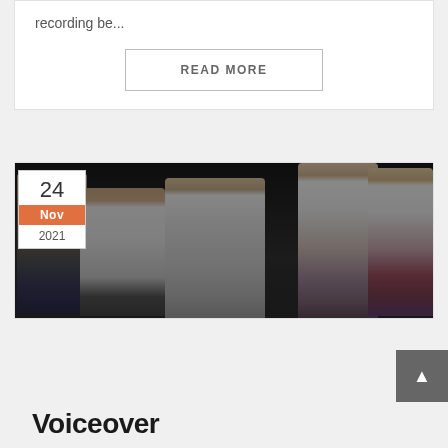recording be...
READ MORE
[Figure (photo): Group of young actors on a stage reading from scripts. Five people: a teenage boy in grey shirt on left, a young man in white shirt, a blonde woman in background near a microphone stand, a smiling bearded man in striped shirt in front, and a woman in striped skirt on the right.]
24
Nov
2021
Voiceover